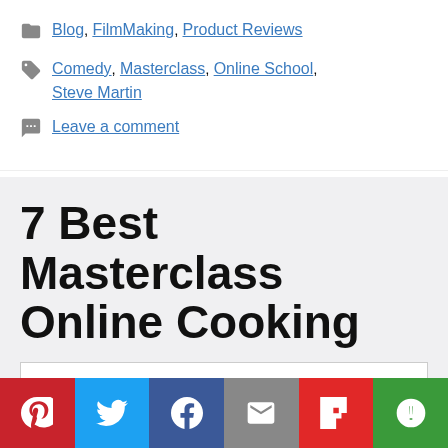Blog, FilmMaking, Product Reviews
Comedy, Masterclass, Online School, Steve Martin
Leave a comment
7 Best Masterclass Online Cooking
Privacy & Cookies: This site uses cookies. By continuing to use this website, you agree to their use.
To find out more, including how to control cookies, see here: Cookie Policy